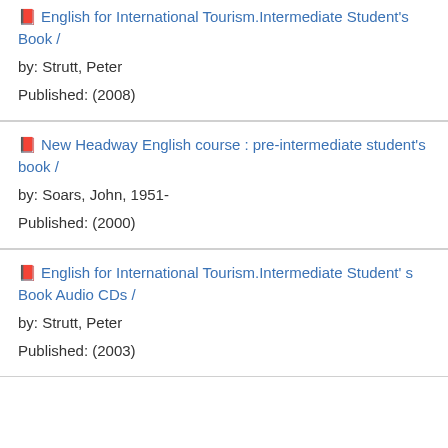English for International Tourism.Intermediate Student's Book / by: Strutt, Peter Published: (2008)
New Headway English course : pre-intermediate student's book / by: Soars, John, 1951- Published: (2000)
English for International Tourism.Intermediate Student' s Book Audio CDs / by: Strutt, Peter Published: (2003)
Search Options
Search History
Advanced Search